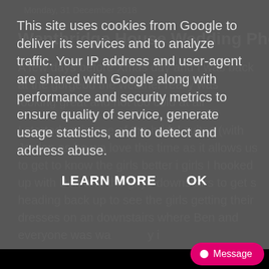This site uses cookies from Google to deliver its services and to analyze traffic. Your IP address and user-agent are shared with Google along with performance and security metrics to ensure quality of service, generate usage statistics, and to detect and address abuse.
LEARN MORE    OK
Monday, 31 December 2018
Wentbridge House Wedding Photography -
A few days before Xmas day and I was back at the gorgeous the weather really was looking great and not too cold at all
I started up in one of the bridal suites (with Jordan as he wa love this time as it allows us to get to know the girls better i girls I hooked up with Ben and the guys downstairs to get s heading back up to see the girls getting their dresses on an downstairs where Ben and everyone was wa y i
Message